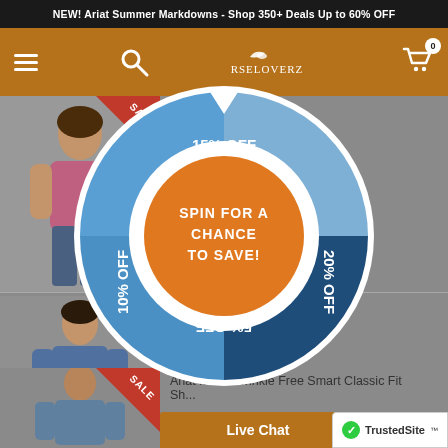NEW! Ariat Summer Markdowns - Shop 350+ Deals Up to 60% OFF
[Figure (screenshot): HorseLoverZ website header navigation bar with hamburger menu, search icon, logo, and cart icon (0 items)]
[Figure (donut-chart): Spin wheel promotional overlay with segments labeled 15% OFF (top), 20% OFF (right), 5% OFF (bottom, upside-down), 10% OFF (left), with orange center circle reading SPIN FOR A CHANCE TO SAVE!]
[Figure (photo): Product listing page showing female model in graphic tee with SALE badge]
Shirt
[Figure (photo): Product listing page showing male model in classic fit shirt with SALE badge]
assic Fit
[Figure (photo): Product listing with male model in Ariat Mens Wrinkle Free Smart Classic Fit Shirt with SALE badge]
Ariat Mens Wrinkle Free Smart Classic Fit Sh...
Live Chat
TrustedSite™